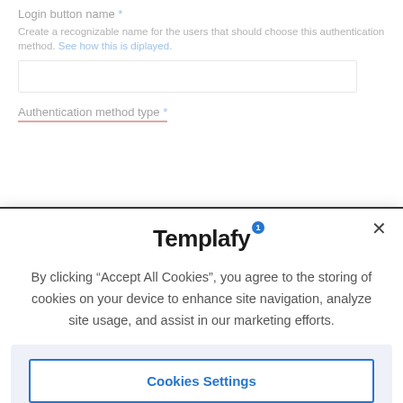Login button name *
Create a recognizable name for the users that should choose this authentication method. See how this is diplayed.
Authentication method type *
Templafy
By clicking “Accept All Cookies”, you agree to the storing of cookies on your device to enhance site navigation, analyze site usage, and assist in our marketing efforts.
Cookies Settings
Reject All
Accept All Cookies